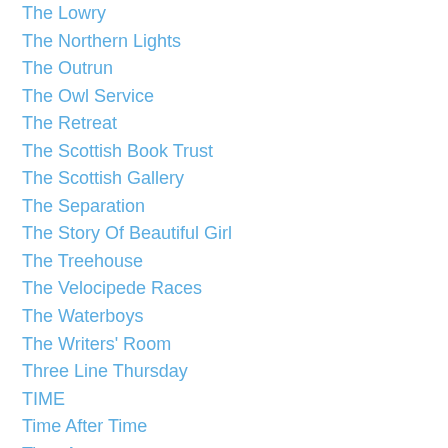The Lowry
The Northern Lights
The Outrun
The Owl Service
The Retreat
The Scottish Book Trust
The Scottish Gallery
The Separation
The Story Of Beautiful Girl
The Treehouse
The Velocipede Races
The Waterboys
The Writers' Room
Three Line Thursday
TIME
Time After Time
Time Away
Torry
Trending On Tumblr
Tumblr
Twitartexhibit